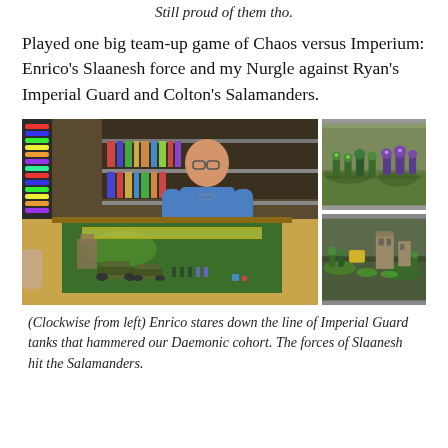Still proud of them tho.
Played one big team-up game of Chaos versus Imperium: Enrico's Slaanesh force and my Nurgle against Ryan's Imperial Guard and Colton's Salamanders.
[Figure (photo): Three photos of a tabletop wargame session. Left: a man in a blue shirt standing behind a large game board filled with miniatures in a game store. Top right: close-up of green and purple tabletop miniatures on a gaming board. Bottom right: close-up of more miniatures on a gaming board with ruins terrain.]
(Clockwise from left) Enrico stares down the line of Imperial Guard tanks that hammered our Daemonic cohort. The forces of Slaanesh hit the Salamanders.